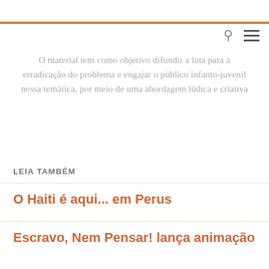O material tem como objetivo difundir a luta para a erradicação do problema e engajar o público infanto-juvenil nessa temática, por meio de uma abordagem lúdica e criativa
LEIA TAMBÉM
O Haiti é aqui... em Perus
Escravo, Nem Pensar! lança animação